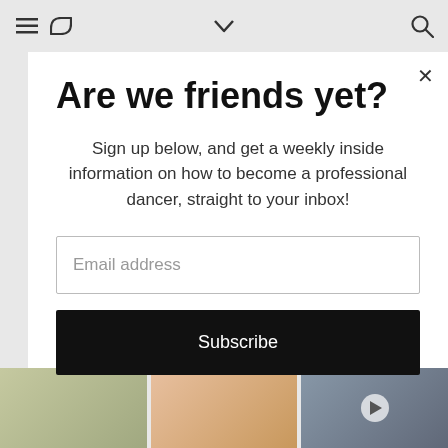≡  ↺  ∨  🔍
Are we friends yet?
Sign up below, and get a weekly inside information on how to become a professional dancer, straight to your inbox!
Email address
Subscribe
[Figure (photo): Three photo thumbnails at the bottom: two dancers outdoors, a person in pink shorts, and a person with a play button overlay.]